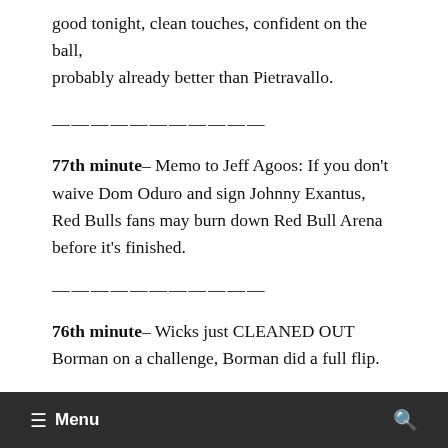good tonight, clean touches, confident on the ball, probably already better than Pietravallo.
———————————
77th minute– Memo to Jeff Agoos: If you don't waive Dom Oduro and sign Johnny Exantus, Red Bulls fans may burn down Red Bull Arena before it's finished.
———————————
76th minute– Wicks just CLEANED OUT Borman on a challenge, Borman did a full flip.
☰  Menu                                           🔍